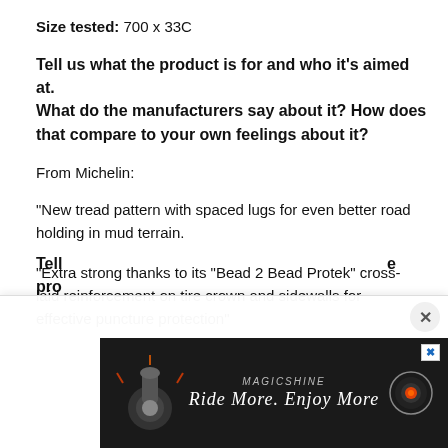Size tested: 700 x 33C
Tell us what the product is for and who it's aimed at. What do the manufacturers say about it? How does that compare to your own feelings about it?
From Michelin:
"New tread pattern with spaced lugs for even better road holding in mud terrain.
"Extra strong thanks to its "Bead 2 Bead Protek" cross-laid reinforcement on tire crown and sidewalls for effective puncture protection"
Tell ... e pro...
[Figure (other): Advertisement banner for Magicshine showing a bicycle light on a dark background with the tagline 'Ride More. Enjoy More' and a circular camera/light icon.]